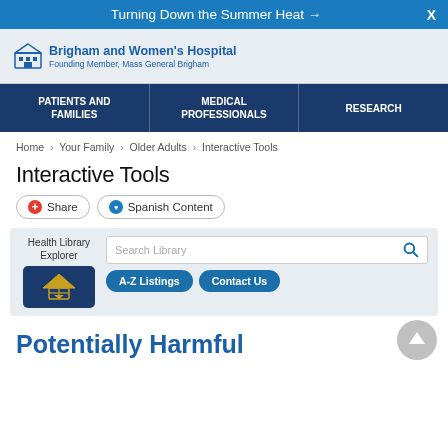Turning Down the Summer Heat →  X
[Figure (logo): Brigham and Women's Hospital logo with hospital building icon. Text: Brigham and Women's Hospital, Founding Member, Mass General Brigham]
PATIENTS AND FAMILIES | MEDICAL PROFESSIONALS | RESEARCH
Home > Your Family > Older Adults > Interactive Tools
Interactive Tools
Share  Spanish Content
Health Library Explorer  Search Library  A-Z Listings  Contact Us
Potentially Harmful